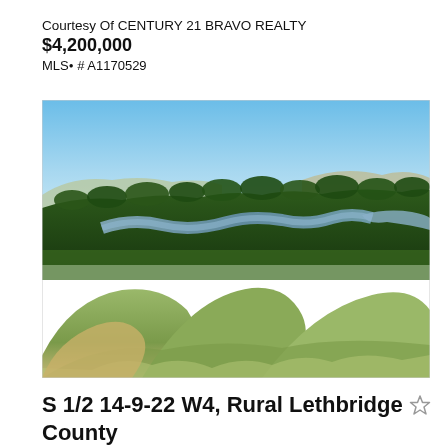Courtesy Of CENTURY 21 BRAVO REALTY
$4,200,000
MLS• # A1170529
[Figure (photo): Aerial landscape photograph showing rolling grassy hills and badlands terrain with a winding river and dense tree line visible in the valley below, under a clear blue sky. Rural Alberta landscape.]
S 1/2 14-9-22 W4, Rural Lethbridge County